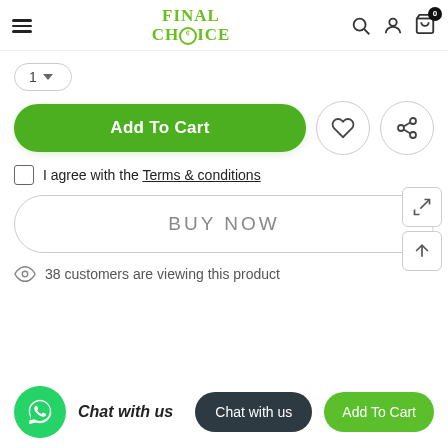Final Choice — navigation header with hamburger menu, logo, search, account, cart (0)
[Figure (screenshot): Quantity selector pill with a number and dropdown arrow]
[Figure (other): Add To Cart green pill button with wishlist heart circle and share circle icons]
I agree with the Terms & conditions
[Figure (other): BUY NOW outlined pill button with expand and scroll-up arrow side icons]
38 customers are viewing this product
[Figure (other): Bottom bar: WhatsApp green circle icon, Chat with us bold italic text, Chat with us dark pill button, Add To Cart green pill button]